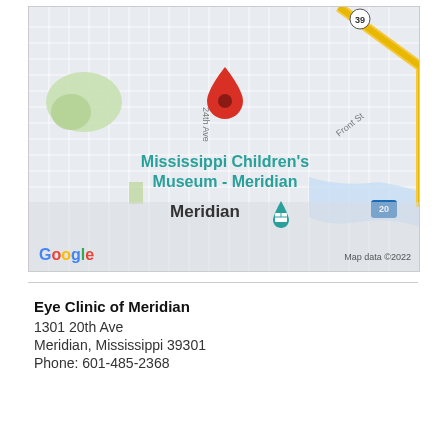[Figure (map): Google Maps screenshot showing Meridian, Mississippi area with a red location pin near 24th Ave, Mississippi Children's Museum - Meridian label in teal, a teal museum marker icon, road network, Interstate 20 marker, Route 39 marker, Front St label, and Google branding with 'Map data ©2022' attribution.]
Eye Clinic of Meridian
1301 20th Ave
Meridian, Mississippi 39301
Phone: 601-485-2368